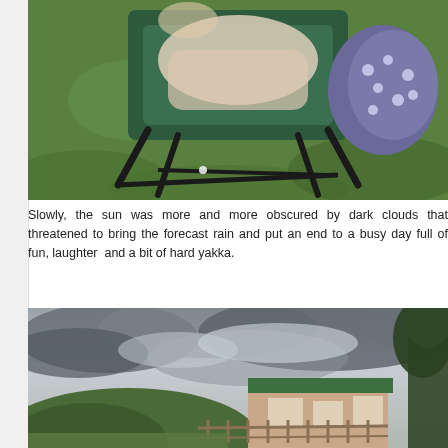[Figure (photo): Person sitting in a folding camping chair on green grass, visible legs with patterned socks, green canvas chair with black metal frame]
Slowly, the sun was more and more obscured by dark clouds that threatened to bring the forecast rain and put an end to a busy day full of fun, laughter and a bit of hard yakka.
[Figure (photo): Overcast sky with dark grey clouds over a rural New Zealand property, showing a house, green fields, fencing and trees]